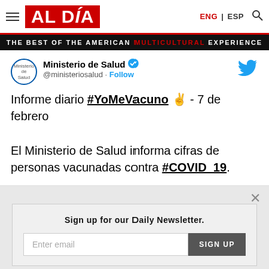AL DÍA — THE BEST OF THE AMERICAN MULTICULTURAL EXPERIENCE | ENG | ESP
[Figure (screenshot): Embedded tweet from @ministeriosalud (Ministerio de Salud) with blue verified checkmark and Twitter bird icon. Tweet text: Informe diario #YoMeVacuno ✌ - 7 de febrero

El Ministerio de Salud informa cifras de personas vacunadas contra #COVID_19.]
Sign up for our Daily Newsletter.
Enter email  SIGN UP